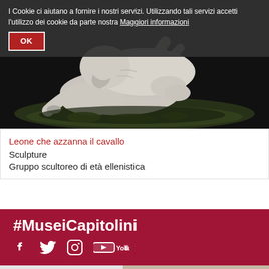I Cookie ci aiutano a fornire i nostri servizi. Utilizzando tali servizi accetti l'utilizzo dei cookie da parte nostra Maggiori informazioni
OK
[Figure (photo): Close-up sculpture of a lion biting/attacking a horse, white marble on dark background with mossy base]
Leone che azzanna il cavallo
Sculpture
Gruppo scultoreo di età ellenistica
#MuseiCapitolini
[Figure (other): Social media icons: Facebook, Twitter, Instagram, YouTube]
[Figure (photo): Bottom section showing two partial images: left is a light grey/white background section, right shows a person holding a smartphone]